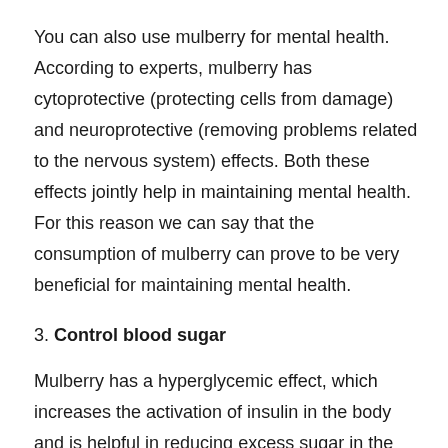You can also use mulberry for mental health. According to experts, mulberry has cytoprotective (protecting cells from damage) and neuroprotective (removing problems related to the nervous system) effects. Both these effects jointly help in maintaining mental health. For this reason we can say that the consumption of mulberry can prove to be very beneficial for maintaining mental health.
3. Control blood sugar
Mulberry has a hyperglycemic effect, which increases the activation of insulin in the body and is helpful in reducing excess sugar in the blood. For this reason, it can prove to be a better option for patients with diabetes.
4. Strengthen digestion